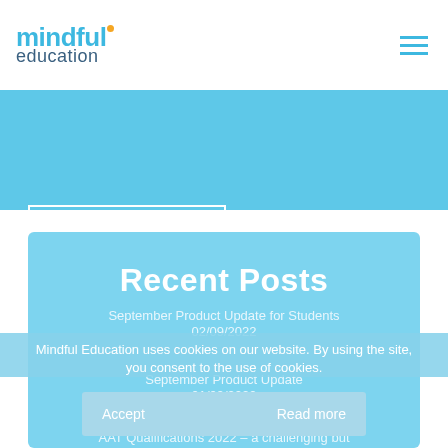[Figure (logo): Mindful Education logo with blue text and orange dot]
Back to Blog
Recent Posts
September Product Update for Students
02/09/2022
Mindful Education uses cookies on our website. By using the site, you consent to the use of cookies.
September Product Update
01/09/2022
Accept
Read more
AAT Qualifications 2022 – a challenging but